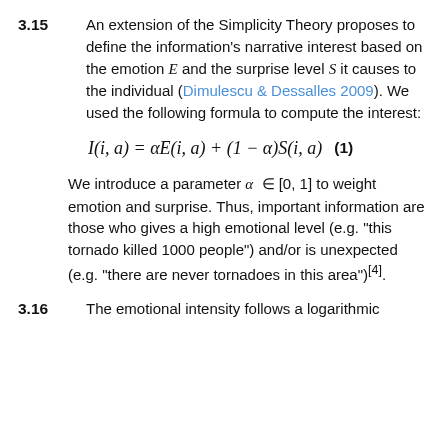3.15 An extension of the Simplicity Theory proposes to define the information's narrative interest based on the emotion E and the surprise level S it causes to the individual (Dimulescu & Dessalles 2009). We used the following formula to compute the interest:
We introduce a parameter α ∈ [0, 1] to weight emotion and surprise. Thus, important information are those who gives a high emotional level (e.g. "this tornado killed 1000 people") and/or is unexpected (e.g. "there are never tornadoes in this area")[4].
3.16 The emotional intensity follows a logarithmic